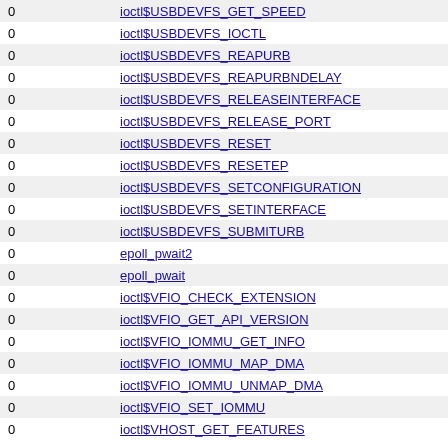| 0 | ioctl$USBDEVFS_GET_SPEED |
| 0 | ioctl$USBDEVFS_IOCTL |
| 0 | ioctl$USBDEVFS_REAPURB |
| 0 | ioctl$USBDEVFS_REAPURBNDELAY |
| 0 | ioctl$USBDEVFS_RELEASEINTERFACE |
| 0 | ioctl$USBDEVFS_RELEASE_PORT |
| 0 | ioctl$USBDEVFS_RESET |
| 0 | ioctl$USBDEVFS_RESETEP |
| 0 | ioctl$USBDEVFS_SETCONFIGURATION |
| 0 | ioctl$USBDEVFS_SETINTERFACE |
| 0 | ioctl$USBDEVFS_SUBMITURB |
| 0 | epoll_pwait2 |
| 0 | epoll_pwait |
| 0 | ioctl$VFIO_CHECK_EXTENSION |
| 0 | ioctl$VFIO_GET_API_VERSION |
| 0 | ioctl$VFIO_IOMMU_GET_INFO |
| 0 | ioctl$VFIO_IOMMU_MAP_DMA |
| 0 | ioctl$VFIO_IOMMU_UNMAP_DMA |
| 0 | ioctl$VFIO_SET_IOMMU |
| 0 | ioctl$VHOST_GET_FEATURES |